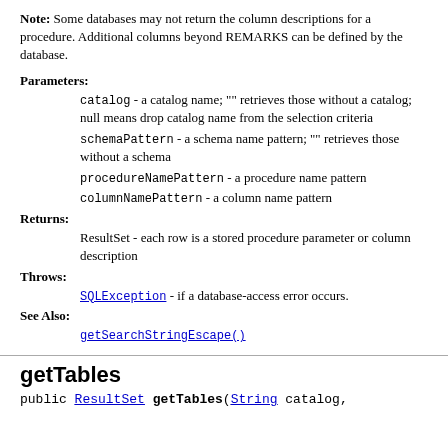Note: Some databases may not return the column descriptions for a procedure. Additional columns beyond REMARKS can be defined by the database.
Parameters:
catalog - a catalog name; "" retrieves those without a catalog; null means drop catalog name from the selection criteria
schemaPattern - a schema name pattern; "" retrieves those without a schema
procedureNamePattern - a procedure name pattern
columnNamePattern - a column name pattern
Returns:
ResultSet - each row is a stored procedure parameter or column description
Throws:
SQLException - if a database-access error occurs.
See Also:
getSearchStringEscape()
getTables
public ResultSet getTables(String catalog,